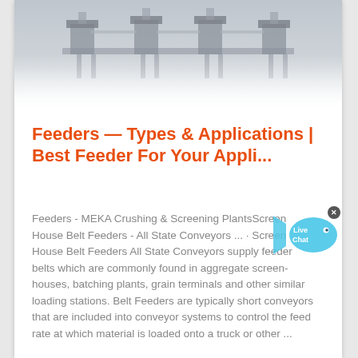[Figure (photo): Industrial feeder/screening plant machinery, multiple units in a row, light industrial background, faded/washed out appearance at bottom]
Feeders — Types & Applications | Best Feeder For Your Appli...
Feeders - MEKA Crushing & Screening PlantsScreen House Belt Feeders - All State Conveyors ... · Screen House Belt Feeders All State Conveyors supply feeder belts which are commonly found in aggregate screen-houses, batching plants, grain terminals and other similar loading stations. Belt Feeders are typically short conveyors that are included into conveyor systems to control the feed rate at which material is loaded onto a truck or other ...
[Figure (illustration): Live Chat bubble widget with fish icon and 'Live Chat' text in cyan/teal color, with a small close (x) button]